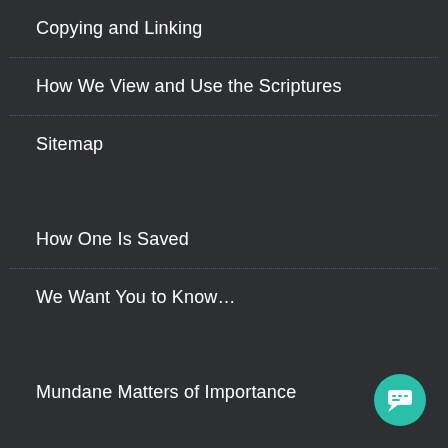Copying and Linking
How We View and Use the Scriptures
Sitemap
How One Is Saved
We Want You to Know…
Mundane Matters of Importance
[Figure (illustration): Teal circular chat/message button icon in bottom-right corner]